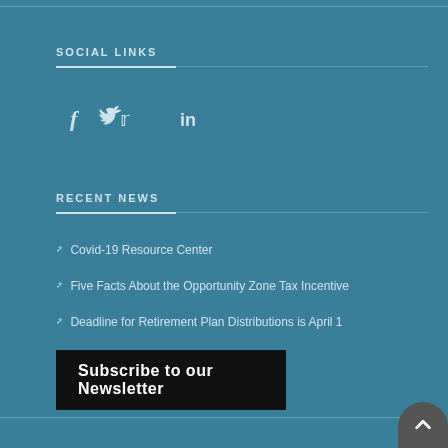SOCIAL LINKS
[Figure (infographic): Social media icons: Facebook (f), Twitter (bird), LinkedIn (in)]
RECENT NEWS
Covid-19 Resource Center
Five Facts About the Opportunity Zone Tax Incentive
Deadline for Retirement Plan Distributions is April 1
Subscribe to our Newsletter